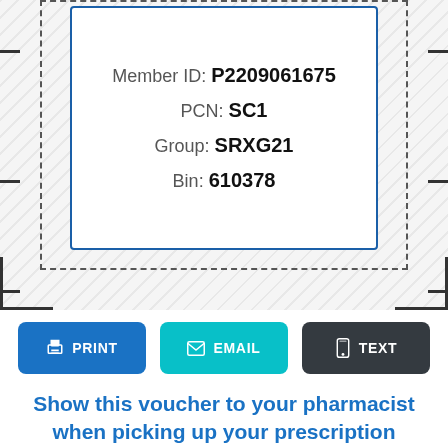Member ID: P2209061675
PCN: SC1
Group: SRXG21
Bin: 610378
PRINT
EMAIL
TEXT
Show this voucher to your pharmacist when picking up your prescription